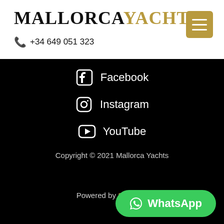MALLORCAYACHTS +34 649 051 323
Facebook
Instagram
YouTube
Copyright © 2021 Mallorca Yachts
Powered by Seven52
WhatsApp